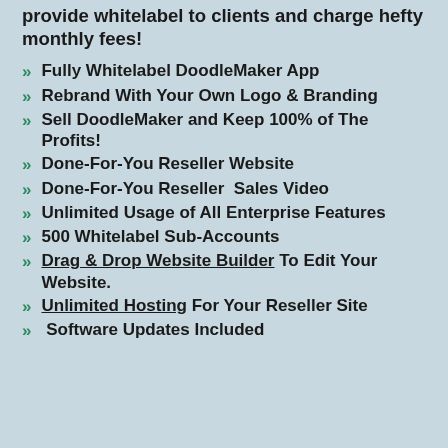provide whitelabel to clients and charge hefty monthly fees!
Fully Whitelabel DoodleMaker App
Rebrand With Your Own Logo & Branding
Sell DoodleMaker and Keep 100% of The Profits!
Done-For-You Reseller Website
Done-For-You Reseller  Sales Video
Unlimited Usage of All Enterprise Features
500 Whitelabel Sub-Accounts
Drag & Drop Website Builder To Edit Your Website.
Unlimited Hosting For Your Reseller Site
Software Updates Included